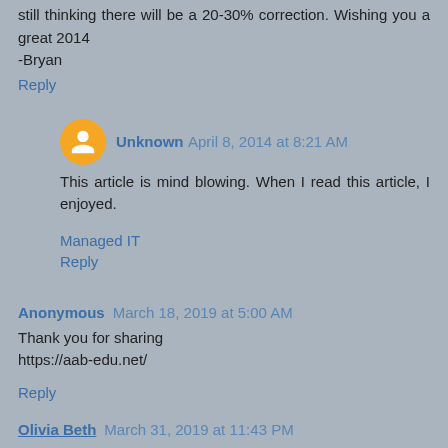still thinking there will be a 20-30% correction. Wishing you a great 2014
-Bryan
Reply
Unknown  April 8, 2014 at 8:21 AM
This article is mind blowing. When I read this article, I enjoyed.
Managed IT
Reply
Anonymous  March 18, 2019 at 5:00 AM
Thank you for sharing
https://aab-edu.net/
Reply
Olivia Beth  March 31, 2019 at 11:43 PM